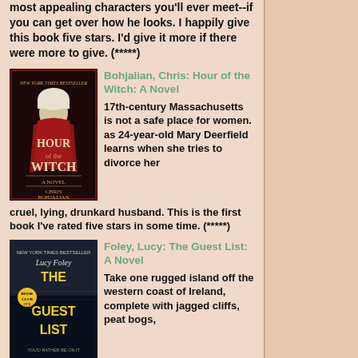most appealing characters you'll ever meet--if you can get over how he looks. I happily give this book five stars. I'd give it more if there were more to give. (*****)
[Figure (illustration): Book cover for 'Hour of the Witch' by Chris Bohjalian, showing a woman in period costume with white head covering against a dark background]
Bohjalian, Chris: Hour of the Witch: A Novel
17th-century Massachusetts is not a safe place for women. as 24-year-old Mary Deerfield learns when she tries to divorce her cruel, lying, drunkard husband. This is the first book I've rated five stars in some time. (*****)
[Figure (illustration): Book cover for 'The Guest List: A Novel' by Lucy Foley, showing yellow text on dark stormy background]
Foley, Lucy: The Guest List: A Novel
Take one rugged island off the western coast of Ireland, complete with jagged cliffs, peat bogs,